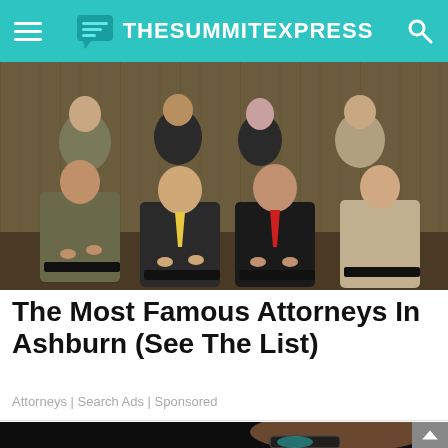TheSummitExpress
[Figure (photo): Group photo of attorneys in business suits seated and standing in a professional setting with a wood-paneled background]
The Most Famous Attorneys In Ashburn (See The List)
Attorneys | Search Ads | Sponsored
[Figure (photo): Close-up photo of a person wearing glasses with a dark background]